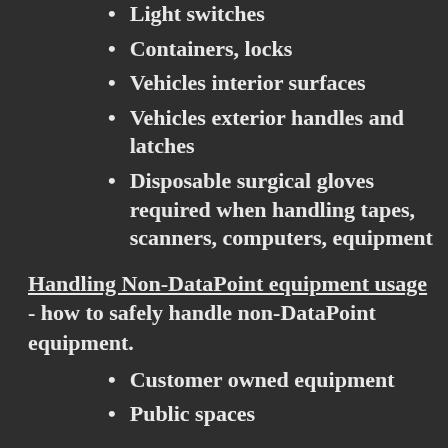Light switches
Containers, locks
Vehicles interior surfaces
Vehicles exterior handles and latches
Disposable surgical gloves required when handling tapes, scanners, computers, equipment
Handling Non-DataPoint equipment usage - how to safely handle non-DataPoint equipment.
Customer owned equipment
Public spaces